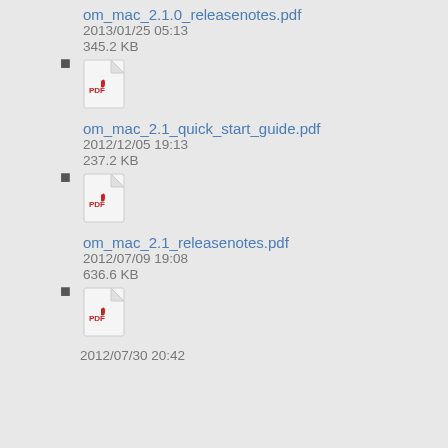om_mac_2.1.0_releasenotes.pdf
2013/01/25 05:13
345.2 KB
om_mac_2.1_quick_start_guide.pdf
2012/12/05 19:13
237.2 KB
om_mac_2.1_releasenotes.pdf
2012/07/09 19:08
636.6 KB
2012/07/30 20:42